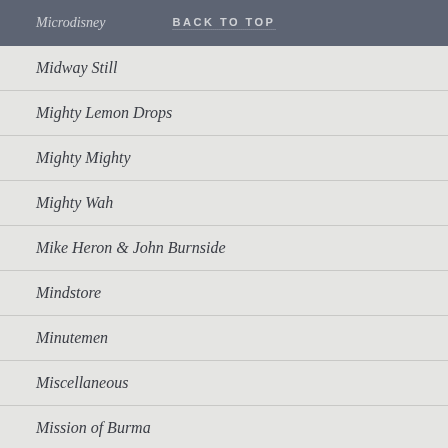Microdisney | BACK TO TOP
Midway Still
Mighty Lemon Drops
Mighty Mighty
Mighty Wah
Mike Heron & John Burnside
Mindstore
Minutemen
Miscellaneous
Mission of Burma
Moby
Mock Turtles
Model Fighter